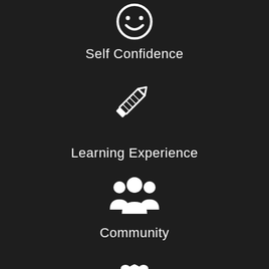[Figure (illustration): White smiley face / happy face icon at top]
Self Confidence
[Figure (illustration): White pencil icon]
Learning Experience
[Figure (illustration): White group/community of people icon]
Community
[Figure (illustration): Partial white icon at bottom (partially visible)]